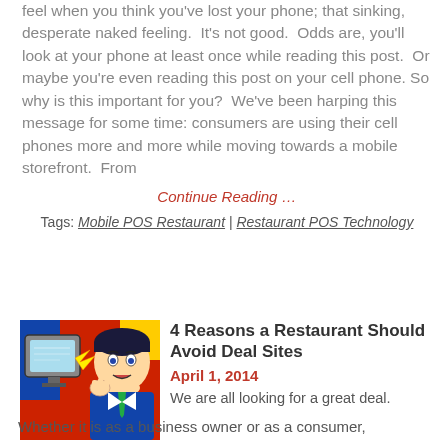feel when you think you've lost your phone; that sinking, desperate naked feeling.  It's not good.  Odds are, you'll look at your phone at least once while reading this post.  Or maybe you're even reading this post on your cell phone. So why is this important for you?  We've been harping this message for some time: consumers are using their cell phones more and more while moving towards a mobile storefront.  From
Continue Reading …
Tags: Mobile POS Restaurant | Restaurant POS Technology
[Figure (illustration): Pop-art style comic illustration of a man in a suit looking shocked/distressed at a computer monitor]
4 Reasons a Restaurant Should Avoid Deal Sites
April 1, 2014
We are all looking for a great deal.
Whether it is as a business owner or as a consumer,